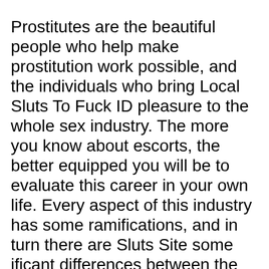Prostitutes are the beautiful people who help make prostitution work possible, and the individuals who bring Local Sluts To Fuck ID pleasure to the whole sex industry. The more you know about escorts, the better equipped you will be to evaluate this career in your own life. Every aspect of this industry has some ramifications, and in turn there are Sluts Site some ificant differences between the two.